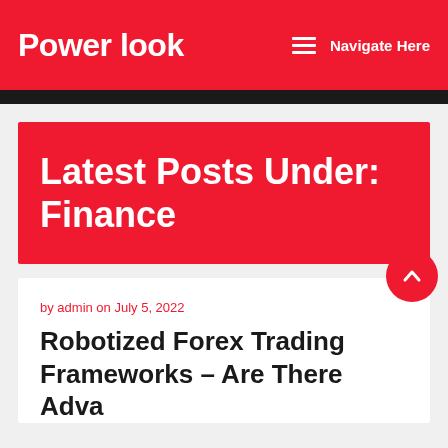Power look   ≡ Navigate Here
Latest Posts Under: Finance
by admin on July 5, 2022
Robotized Forex Trading Frameworks – Are There Advantages?